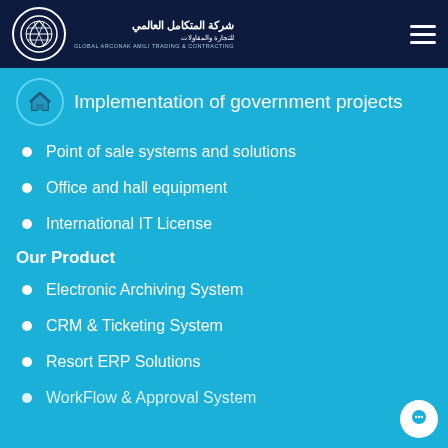شركة المتكامل العالمي للتجارة والمقاولات - GLOBAL ARCONAK AMILI TRADING & CONTRACTING
Implementation of government projects
Point of sale systems and solutions
Office and hall equipment
International IT License
Our Product
Electronic Archiving System
CRM & Ticketing System
Resort ERP Solutions
WorkFlow & Approval System